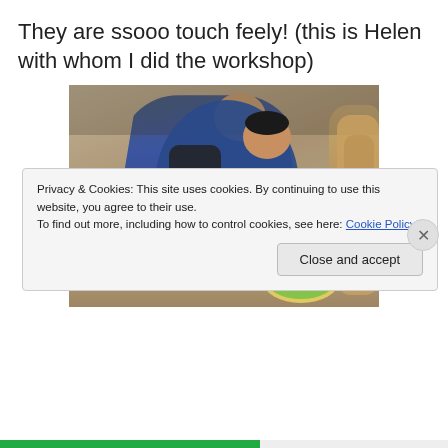They are ssooo touch feely! (this is Helen with whom I did the workshop)
[Figure (photo): Person crouching down touching a colorful circular mosaic on sandy ground outdoors, wearing a blue top and backpack, with a large rock on the right side.]
Privacy & Cookies: This site uses cookies. By continuing to use this website, you agree to their use.
To find out more, including how to control cookies, see here: Cookie Policy
Close and accept